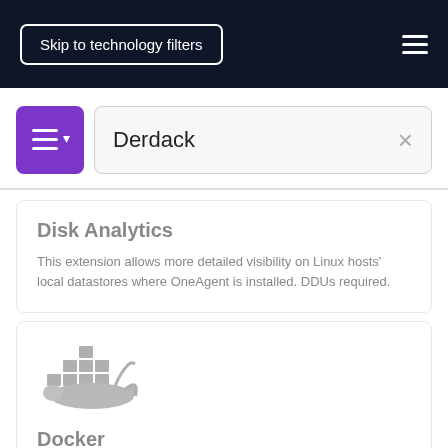Skip to technology filters
[Figure (screenshot): Purple list/filter button with dropdown arrow]
Derdack
Disk Analytics
This extension allows more detailed visibility on Linux hosts' local datastores where OneAgent is installed. DDUs required.
[Figure (logo): Docker whale logo in gray]
Docker
Automated distributed tracing and metrics for microservices running in docker containers in Kubernetes.